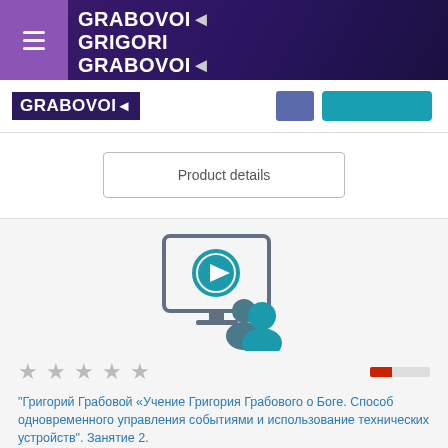GRABOVOI GRIGORI GRABOVOI
Product details
[Figure (illustration): Video/webinar icon: a screen with a play button and two person silhouettes in teal/grey]
★ ★ ★ ★ ★ (rating bar, partially filled in red)
"Григорий Грабовой «Учение Григория Грабового о Боге. Способ одновременного управления событиями и использование технических устройств". Занятие 2.
Дата 05.08.2019 Время 17:10 CEST (18:10 московское ...
| Base price for variant: | 8,00 € |
| Sales price: | 8,00 € |
| Sales price without tax: | 8,00 € |
Notify Me